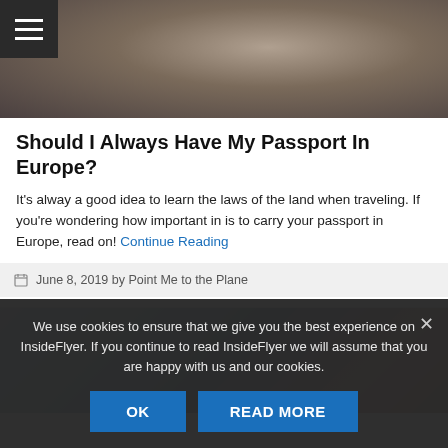[Figure (photo): Top banner photo showing a person holding a passport, dark background, with a hamburger menu icon in top-left corner]
Should I Always Have My Passport In Europe?
It's alway a good idea to learn the laws of the land when traveling. If you're wondering how important in is to carry your passport in Europe, read on! Continue Reading
June 8, 2019 by Point Me to the Plane
[Figure (photo): Photo of monkeys in a wintry blue-toned environment]
We use cookies to ensure that we give you the best experience on InsideFlyer. If you continue to read InsideFlyer we will assume that you are happy with us and our cookies.